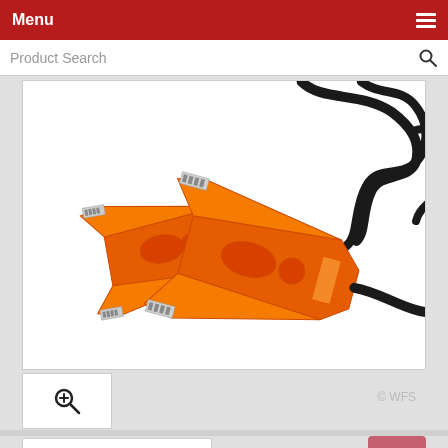Menu
Product Search
[Figure (photo): Two orange battery jumper/booster clamps with black cables, photographed on a white background. The clamps are heavy-duty crocodile/alligator clip style with silver metal teeth and an orange plastic body with a brand logo visible.]
© WFS
[Figure (photo): Small thumbnail of orange jumper clamps with black cable, partially visible at bottom left.]